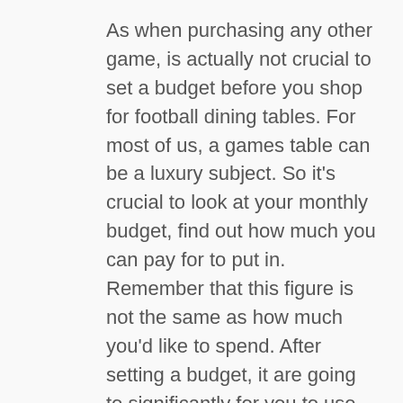As when purchasing any other game, is actually not crucial to set a budget before you shop for football dining tables. For most of us, a games table can be a luxury subject. So it's crucial to look at your monthly budget, find out how much you can pay for to put in. Remember that this figure is not the same as how much you'd like to spend. After setting a budget, it are going to significantly for you to use fiscal discipline while you shop for your football regular. Otherwise, you could upward spending many more than you can actually discover the money. While not every football table is alike, these above tips will profit to find 1 that you like these fits length and width of any room and your budget.